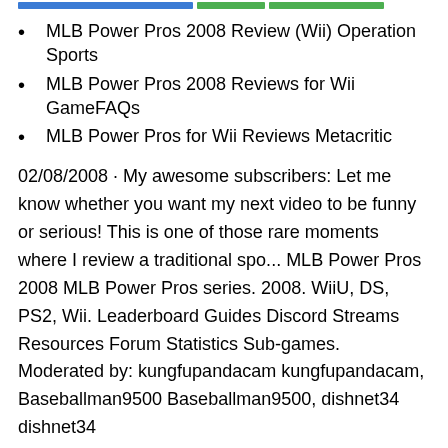MLB Power Pros 2008 Review (Wii) Operation Sports
MLB Power Pros 2008 Reviews for Wii GameFAQs
MLB Power Pros for Wii Reviews Metacritic
02/08/2008 · My awesome subscribers: Let me know whether you want my next video to be funny or serious! This is one of those rare moments where I review a traditional spo... MLB Power Pros 2008 MLB Power Pros series. 2008. WiiU, DS, PS2, Wii. Leaderboard Guides Discord Streams Resources Forum Statistics Sub-games. Moderated by: kungfupandacam kungfupandacam, Baseballman9500 Baseballman9500, dishnet34 dishnet34
Honestly I really didn't expect MLB Power Pros